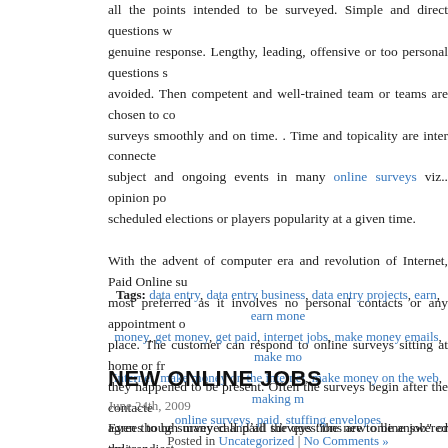Before commencement, a survey format is designed by the research team covering all the points intended to be surveyed. Simple and direct questions will get genuine response. Lengthy, leading, offensive or too personal questions should be avoided. Then competent and well-trained team or teams are chosen to conduct the surveys smoothly and on time. . Time and topicality are inter connected the subject and ongoing events in many online surveys viz.. opinion polls on scheduled elections or players popularity at a given time.
With the advent of computer era and revolution of Internet, Paid Online surveys are most preferred as it involves no personal contacts or any appointment of time or place. The customer can respond to online surveys sitting at home or from where they happened to be present. Often the surveys begin after the contacted client agrees to be surveyed and all the questions are to be answered online in the designed format. It takes about 7 to 10 minutes in general and you get rewards
Tags: data entry, data entry business, data entry projects, earn, earn money, get money, get paid, internet jobs, make money emails, make money internet, make money on the internet, make money on the web, making money, online surveys, paid, stuffing envelopes
Posted in Uncategorized | No Comments »
NEW ONLINE JOBS
June 24th, 2009
Even though many call paid surveys "the new online job" or the trendiest home job", taking paid surveys is really the best possible alternative to get in your free time, while you actually input minimum effort.